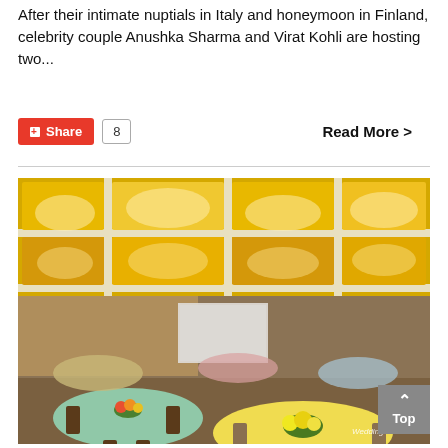After their intimate nuptials in Italy and honeymoon in Finland, celebrity couple Anushka Sharma and Virat Kohli are hosting two...
Share 8 | Read More >
[Figure (photo): A luxurious banquet hall with ornate golden coffered ceiling with crystal chandeliers, decorated round tables with colorful tablecloths (mint green, yellow, pink), elegant chairs, and a projection screen at the back. Watermark: WeddingSutra.com]